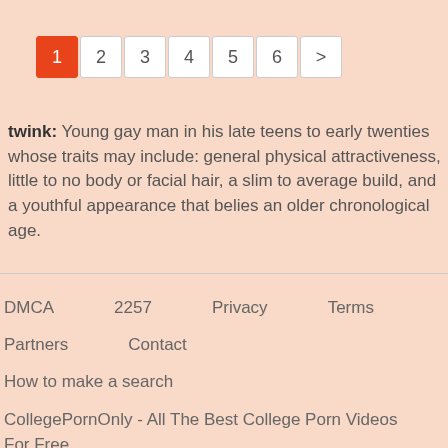[Figure (other): Pagination navigation showing page buttons 1 (active/highlighted in orange), 2, 3, 4, 5, 6, and a > next button]
twink: Young gay man in his late teens to early twenties whose traits may include: general physical attractiveness, little to no body or facial hair, a slim to average build, and a youthful appearance that belies an older chronological age.
DMCA   2257   Privacy   Terms
Partners   Contact
How to make a search

CollegePornOnly - All The Best College Porn Videos For Free.

© 2019-2020   RTA®